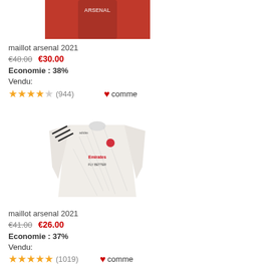[Figure (photo): Arsenal red jersey worn by a model, cropped at the torso]
maillot arsenal 2021
€48.00  €30.00
Economie : 38%
Vendu:
★★★★☆ (944)  ♥ comme
[Figure (photo): Arsenal white away jersey with Emirates / Fly Better sponsor, marble pattern]
maillot arsenal 2021
€41.00  €26.00
Economie : 37%
Vendu:
★★★★★ (1019)  ♥ comme